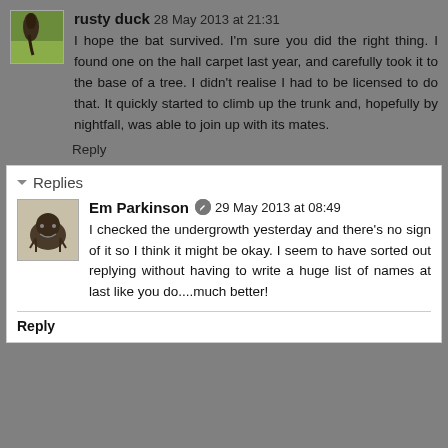rusty duck 28 May 2013 at 21:31
I hope the bat survived. I'm sure you did the right thing. I found one on the hall carpet last year, and carefully took it to the base of a tree. I didn't realise I had to be licensed to do that. It quickly started to climb up the trunk and, hopefully by nightfall, was able to join up with its mates.
Reply
Replies
Em Parkinson 29 May 2013 at 08:49
I checked the undergrowth yesterday and there's no sign of it so I think it might be okay. I seem to have sorted out replying without having to write a huge list of names at last like you do....much better!
Reply